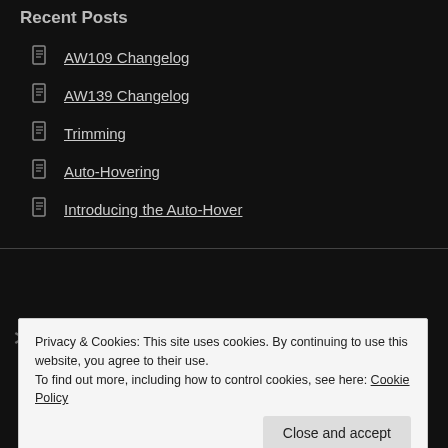Recent Posts
AW109 Changelog
AW139 Changelog
Trimming
Auto-Hovering
Introducing the Auto-Hover
[Figure (logo): Logos of LEONARDO, Bristow, Era, and CHC on a dark background]
Privacy & Cookies: This site uses cookies. By continuing to use this website, you agree to their use.
To find out more, including how to control cookies, see here: Cookie Policy